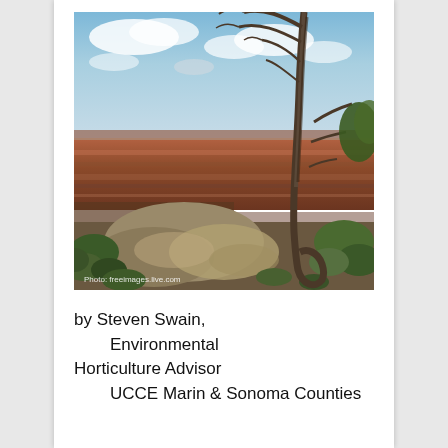[Figure (photo): Photograph of the Grand Canyon with a tall dead tree in the foreground on the right side, rocky outcroppings in the middle, red layered canyon walls in the background, and a partly cloudy blue sky. A watermark reads 'Photo: freeimages.live.com' in the lower left corner.]
by Steven Swain, Environmental Horticulture Advisor UCCE Marin & Sonoma Counties